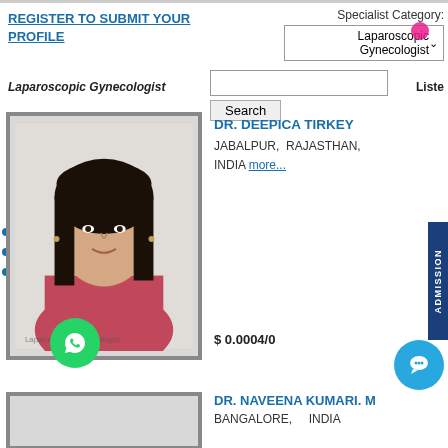REGISTER TO SUBMIT YOUR PROFILE
Specialist Category: Laparoscopic Gynecologist
Laparoscopic Gynecologist
Liste
[Figure (photo): Portrait photo of Dr. Deepica Tirkey, a woman with dark hair wearing a pink/red top]
DR. DEEPICA TIRKEY
JABALPUR,  RAJASTHAN, INDIA more...
$ 0.0004/0
ADMISSION
[Figure (photo): Partial view of second doctor photo frame]
DR. NAVEENA KUMARI. M
BANGALORE,    INDIA